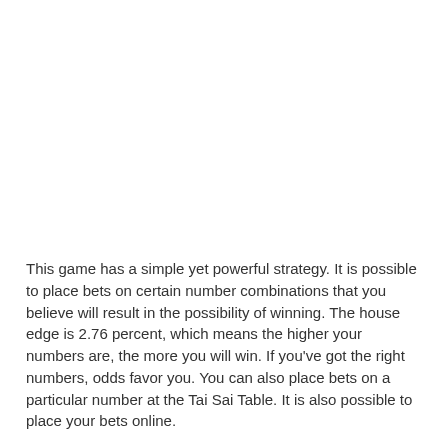This game has a simple yet powerful strategy. It is possible to place bets on certain number combinations that you believe will result in the possibility of winning. The house edge is 2.76 percent, which means the higher your numbers are, the more you will win. If you've got the right numbers, odds favor you. You can also place bets on a particular number at the Tai Sai Table. It is also possible to place your bets online.
Tai Sai's objective is to win. This is sometimes not an option.